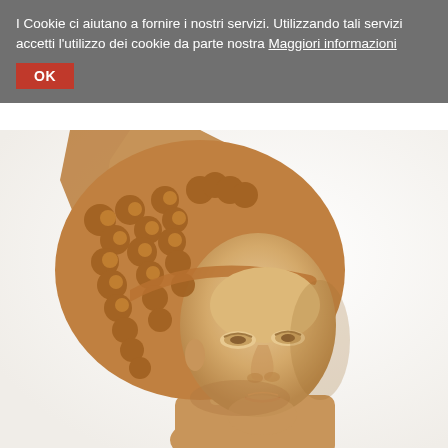I Cookie ci aiutano a fornire i nostri servizi. Utilizzando tali servizi accetti l'utilizzo dei cookie da parte nostra Maggiori informazioni
[Figure (photo): Close-up photograph of an ancient classical marble or terracotta sculpture depicting a female head with elaborate curly hair and a helmet or headdress, likely Athena/Minerva, against a white background.]